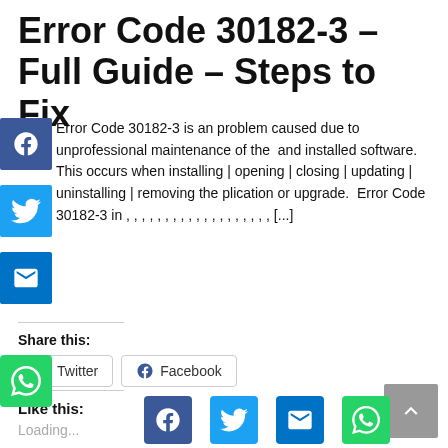Error Code 30182-3 – Full Guide – Steps to Fix
Error Code 30182-3 is an problem caused due to unprofessional maintenance of the  and installed software. This occurs when installing | opening | closing | updating | uninstalling | removing the plication or upgrade.  Error Code 30182-3 in , , , , , , , , , , , , , , , , , , , [...]
Share this:
Twitter
Facebook
Like this:
Loading...